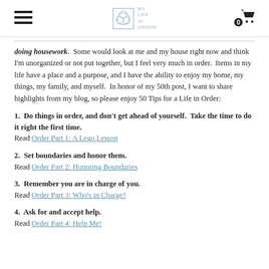MY LIFE IN ORDER (logo) | hamburger menu | cart 0
doing housework.  Some would look at me and my house right now and think I'm unorganized or not put together, but I feel very much in order.  Items in my life have a place and a purpose, and I have the ability to enjoy my home, my things, my family, and myself.  In honor of my 50th post, I want to share highlights from my blog, so please enjoy 50 Tips for a Life in Order:
1.  Do things in order, and don't get ahead of yourself.  Take the time to do it right the first time.
Read Order Part 1: A Lego Lesson
2.  Set boundaries and honor them.
Read Order Part 2: Honoring Boundaries
3.  Remember you are in charge of you.
Read Order Part 3: Who's in Charge?
4.  Ask for and accept help.
Read Order Part 4: Help Me!